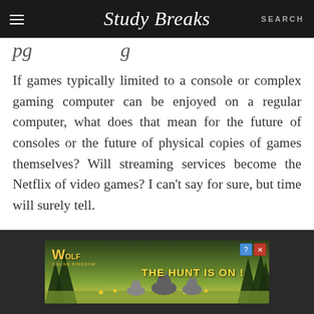Study Breaks  SEARCH
pg ...g
If games typically limited to a console or complex gaming computer can be enjoyed on a regular computer, what does that mean for the future of consoles or the future of physical copies of games themselves? Will streaming services become the Netflix of video games? I can't say for sure, but time will surely tell.
[Figure (illustration): Advertisement banner for 'Wolf' game featuring wolves in a field with text 'THE HUNT IS ON!']